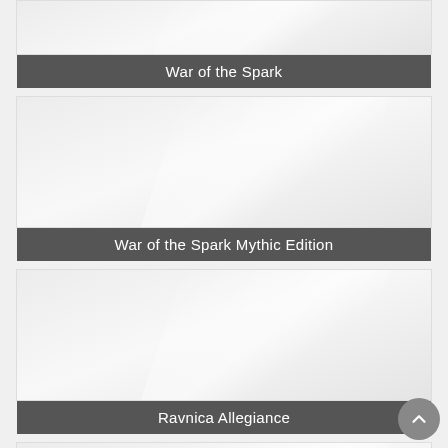[Figure (illustration): Card tile with light gray placeholder image background with diagonal highlight]
War of the Spark
[Figure (illustration): Card tile with light gray placeholder image background with diagonal highlight]
War of the Spark Mythic Edition
[Figure (illustration): Card tile with light gray placeholder image background with diagonal highlight]
Ravnica Allegiance
[Figure (illustration): Card tile with light gray placeholder image background with diagonal highlight]
Ravnica Allegiance Mythic Edition